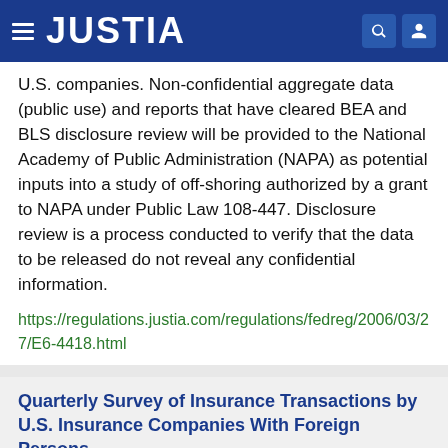JUSTIA
U.S. companies. Non-confidential aggregate data (public use) and reports that have cleared BEA and BLS disclosure review will be provided to the National Academy of Public Administration (NAPA) as potential inputs into a study of off-shoring authorized by a grant to NAPA under Public Law 108-447. Disclosure review is a process conducted to verify that the data to be released do not reveal any confidential information.
https://regulations.justia.com/regulations/fedreg/2006/03/27/E6-4418.html
Quarterly Survey of Insurance Transactions by U.S. Insurance Companies With Foreign Persons
Document Number: E6-3949
Type: Notice
Date: 2006-03-20